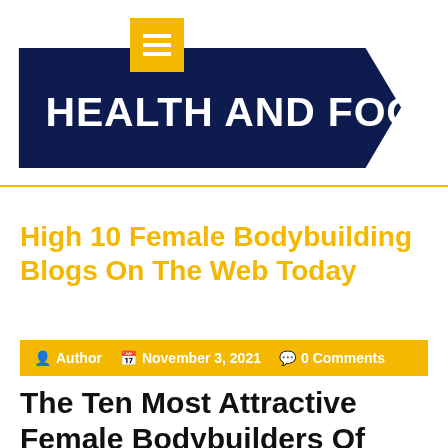[Figure (logo): Health And Food blog logo — dark navy blue arrow/banner shape with white bold text HEALTH AND FOOD, yellow menu icon box top-left with three white horizontal lines]
High 10 Female Bodybuilding Blogs On The Web Today
Author  November 3, 2021  0 Comments
The Ten Most Attractive Female Bodybuilders Of